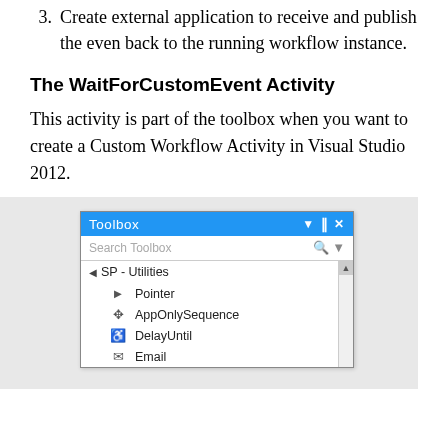3. Create external application to receive and publish the even back to the running workflow instance.
The WaitForCustomEvent Activity
This activity is part of the toolbox when you want to create a Custom Workflow Activity in Visual Studio 2012.
[Figure (screenshot): Visual Studio Toolbox panel showing SP - Utilities section with items: Pointer, AppOnlySequence, DelayUntil, Email]